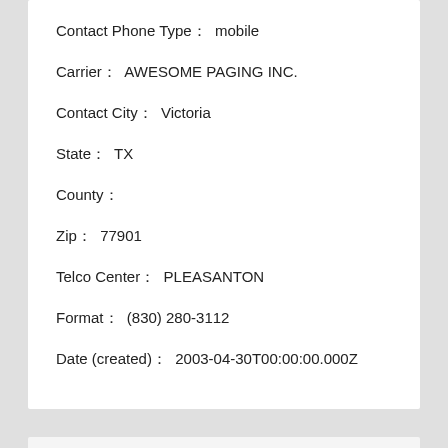Contact Phone Type：  mobile
Carrier：  AWESOME PAGING INC.
Contact City：  Victoria
State：  TX
County：
Zip：  77901
Telco Center：  PLEASANTON
Format：  (830) 280-3112
Date (created)：  2003-04-30T00:00:00.000Z
Information For